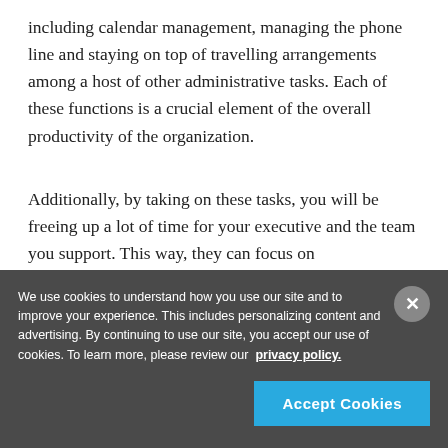including calendar management, managing the phone line and staying on top of travelling arrangements among a host of other administrative tasks. Each of these functions is a crucial element of the overall productivity of the organization.
Additionally, by taking on these tasks, you will be freeing up a lot of time for your executive and the team you support. This way, they can focus on
We use cookies to understand how you use our site and to improve your experience. This includes personalizing content and advertising. By continuing to use our site, you accept our use of cookies. To learn more, please review our privacy policy.
Accept Cookies